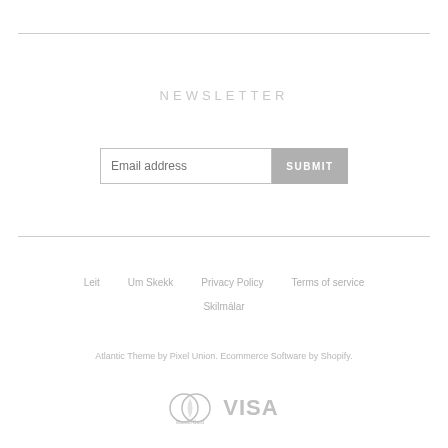NEWSLETTER
[Figure (screenshot): Email address input field with SUBMIT button]
Leit  Um Skekk  Privacy Policy  Terms of service  Skilmálar
Atlantic Theme by Pixel Union. Ecommerce Software by Shopify.
[Figure (logo): MasterCard and VISA payment icons]